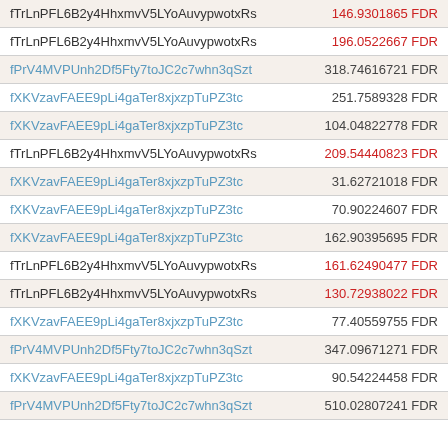| Name | Value |
| --- | --- |
| fTrLnPFL6B2y4HhxmvV5LYoAuvypwotxRs | 146.9301865 FDR |
| fTrLnPFL6B2y4HhxmvV5LYoAuvypwotxRs | 196.0522667 FDR |
| fPrV4MVPUnh2Df5Fty7toJC2c7whn3qSzt | 318.74616721 FDR |
| fXKVzavFAEE9pLi4gaTer8xjxzpTuPZ3tc | 251.7589328 FDR |
| fXKVzavFAEE9pLi4gaTer8xjxzpTuPZ3tc | 104.04822778 FDR |
| fTrLnPFL6B2y4HhxmvV5LYoAuvypwotxRs | 209.54440823 FDR |
| fXKVzavFAEE9pLi4gaTer8xjxzpTuPZ3tc | 31.62721018 FDR |
| fXKVzavFAEE9pLi4gaTer8xjxzpTuPZ3tc | 70.90224607 FDR |
| fXKVzavFAEE9pLi4gaTer8xjxzpTuPZ3tc | 162.90395695 FDR |
| fTrLnPFL6B2y4HhxmvV5LYoAuvypwotxRs | 161.62490477 FDR |
| fTrLnPFL6B2y4HhxmvV5LYoAuvypwotxRs | 130.72938022 FDR |
| fXKVzavFAEE9pLi4gaTer8xjxzpTuPZ3tc | 77.40559755 FDR |
| fPrV4MVPUnh2Df5Fty7toJC2c7whn3qSzt | 347.09671271 FDR |
| fXKVzavFAEE9pLi4gaTer8xjxzpTuPZ3tc | 90.54224458 FDR |
| fPrV4MVPUnh2Df5Fty7toJC2c7whn3qSzt | 510.02807241 FDR |